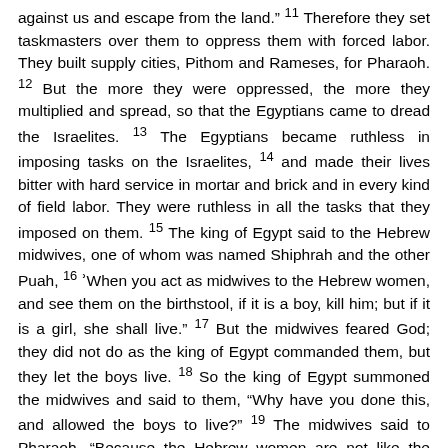against us and escape from the land." 11 Therefore they set taskmasters over them to oppress them with forced labor. They built supply cities, Pithom and Rameses, for Pharaoh. 12 But the more they were oppressed, the more they multiplied and spread, so that the Egyptians came to dread the Israelites. 13 The Egyptians became ruthless in imposing tasks on the Israelites, 14 and made their lives bitter with hard service in mortar and brick and in every kind of field labor. They were ruthless in all the tasks that they imposed on them. 15 The king of Egypt said to the Hebrew midwives, one of whom was named Shiphrah and the other Puah, 16 'When you act as midwives to the Hebrew women, and see them on the birthstool, if it is a boy, kill him; but if it is a girl, she shall live.' 17 But the midwives feared God; they did not do as the king of Egypt commanded them, but they let the boys live. 18 So the king of Egypt summoned the midwives and said to them, "Why have you done this, and allowed the boys to live?" 19 The midwives said to Pharaoh, "Because the Hebrew women are not like the Egyptian women; for they are vigorous and give birth before the midwife comes to them." 20 So God dealt well with the midwives; and the people multiplied and became very strong. 21 And because the midwives feared God, he gave them families. 22 Then Pharaoh commanded all his people, "Every boy that is born to the Hebrews you shall throw into the Nile, but you shall let every girl live." 2:1 Now a man from the house of Levi went and married a Levite woman. 2 The woman conceived and bore a son; and when she saw that he was a fine baby, she hid him three months. 3 When she